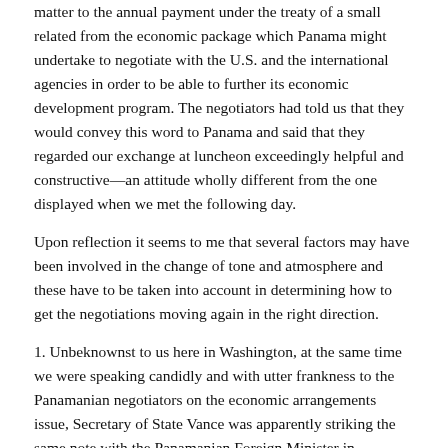matter to the annual payment under the treaty of a small related from the economic package which Panama might undertake to negotiate with the U.S. and the international agencies in order to be able to further its economic development program. The negotiators had told us that they would convey this word to Panama and said that they regarded our exchange at luncheon exceedingly helpful and constructive—an attitude wholly different from the one displayed when we met the following day.
Upon reflection it seems to me that several factors may have been involved in the change of tone and atmosphere and these have to be taken into account in determining how to get the negotiations moving again in the right direction.
1. Unbeknownst to us here in Washington, at the same time we were speaking candidly and with utter frankness to the Panamanian negotiators on the economic arrangements issue, Secretary of State Vance was apparently striking the same note with the Panamanian Foreign Minister in Grenada.5 To the Panamanians this very likely will have appeared to be [Page 170] an orchestrated effort on our part to lessen their financial expectations and to try to move them into a more reasonable and